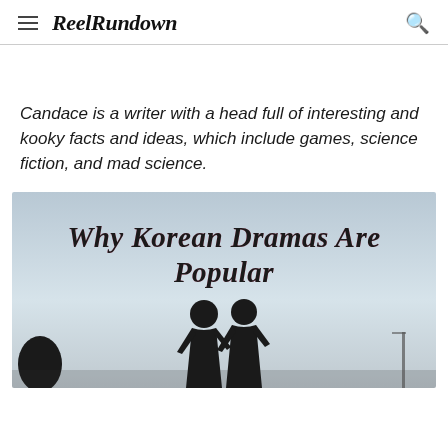ReelRundown
Candace is a writer with a head full of interesting and kooky facts and ideas, which include games, science fiction, and mad science.
[Figure (photo): A romantic silhouette of two people facing each other against a light sky background, with the text 'Why Korean Dramas Are Popular' overlaid in cursive script with pink shadow/outline effect.]